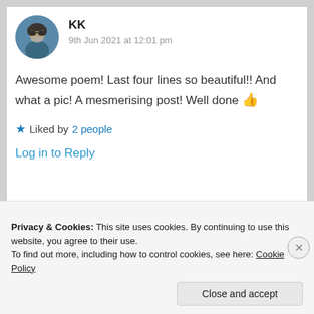KK
9th Jun 2021 at 12:01 pm
Awesome poem! Last four lines so beautiful!! And what a pic! A mesmerising post! Well done 👍
★ Liked by 2 people
Log in to Reply
Privacy & Cookies: This site uses cookies. By continuing to use this website, you agree to their use.
To find out more, including how to control cookies, see here: Cookie Policy
Close and accept